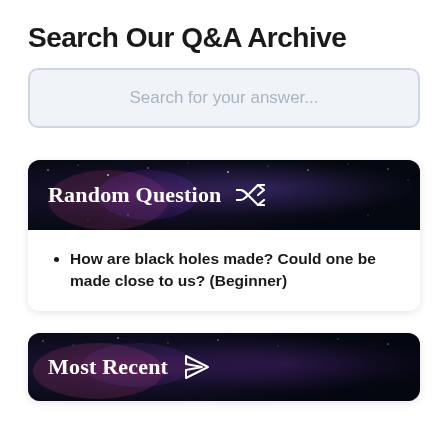Search Our Q&A Archive
[Figure (screenshot): Search input box with placeholder text 'Search for your answer...']
[Figure (infographic): Random Question card with galaxy background header and a bullet point listing: How are black holes made? Could one be made close to us? (Beginner)]
How are black holes made? Could one be made close to us? (Beginner)
[Figure (infographic): Most Recent card with galaxy background header showing 'Most Recent' with arrow icon]